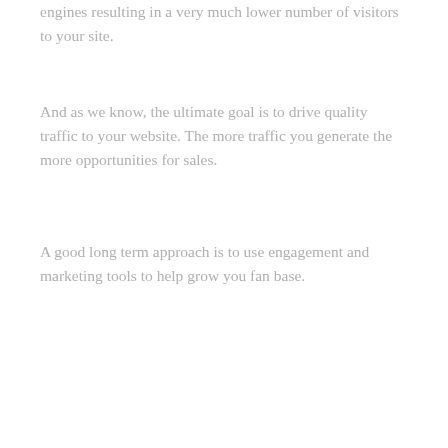engines resulting in a very much lower number of visitors to your site.
And as we know, the ultimate goal is to drive quality traffic to your website. The more traffic you generate the more opportunities for sales.
A good long term approach is to use engagement and marketing tools to help grow you fan base.
Here are two great tools Social Caddie can offer to help you make an immediate impact on your engagement:
Sweepstakes
[Figure (photo): Sweepstakes promotional banner for entering to win a 3 night stay, featuring tropical palm trees and a resort hotel image on a teal/blue background.]